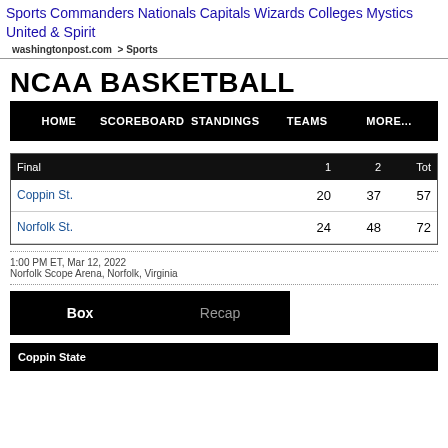Sports Commanders Nationals Capitals Wizards Colleges Mystics United & Spirit
washingtonpost.com > Sports
NCAA BASKETBALL
HOME  SCOREBOARD  STANDINGS  TEAMS  MORE...
| Final | 1 | 2 | Tot |
| --- | --- | --- | --- |
| Coppin St. | 20 | 37 | 57 |
| Norfolk St. | 24 | 48 | 72 |
1:00 PM ET, Mar 12, 2022
Norfolk Scope Arena, Norfolk, Virginia
Box  Recap
Coppin State